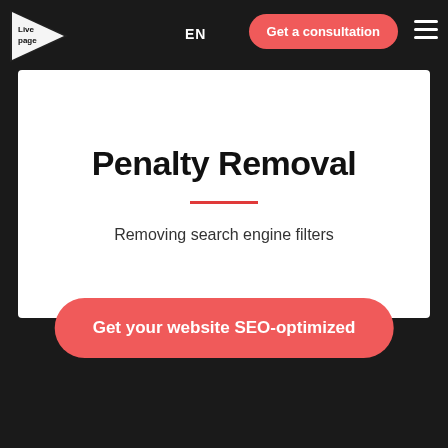Providing SEO recommendations before launching a website
[Figure (logo): Livepage logo — white play-button arrow shape with 'Live page' text inside on dark background]
EN
Get a consultation
Penalty Removal
Removing search engine filters
Get your website SEO-optimized